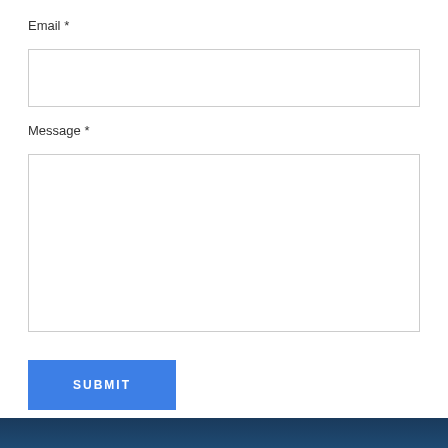Email *
[Figure (screenshot): Empty email input text field with border]
Message *
[Figure (screenshot): Empty message textarea with resize handle]
[Figure (screenshot): Blue SUBMIT button with white uppercase text]
[Figure (photo): Dark navy blue footer image at bottom of page]